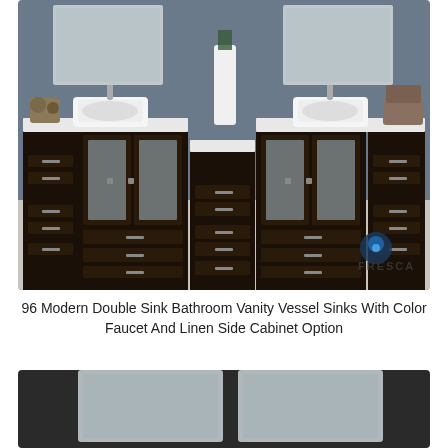[Figure (photo): Large dark espresso double-sink bathroom vanity with two vessel sinks, frosted glass cabinet doors, multiple drawers, two wall mirrors, and decorative items. Fresca brand logo visible in bottom right corner.]
96 Modern Double Sink Bathroom Vanity Vessel Sinks With Color Faucet And Linen Side Cabinet Option
[Figure (photo): Bottom portion of a dark bathroom vanity showing two rectangular frameless mirrors mounted on a dark wall.]